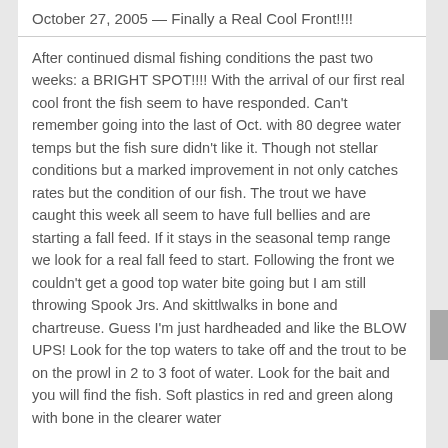October 27, 2005 — Finally a Real Cool Front!!!!
After continued dismal fishing conditions the past two weeks: a BRIGHT SPOT!!!! With the arrival of our first real cool front the fish seem to have responded.  Can't remember going into the last of Oct. with 80 degree water temps but the fish sure didn't like it. Though not stellar conditions but a marked improvement in not only catches rates but the condition of our fish. The trout we have caught this week all seem to have full bellies and are starting a fall feed. If it stays in the seasonal temp range we look for a real fall feed to start. Following the front we couldn't get a good top water bite going but I am still throwing Spook Jrs. And skittlwalks in bone and chartreuse. Guess I'm just hardheaded and like the BLOW UPS!  Look for the top waters to take off and the trout to be on the prowl in 2 to 3 foot of water. Look for the bait and you will find the fish. Soft plastics in red and green along with bone in the clearer water